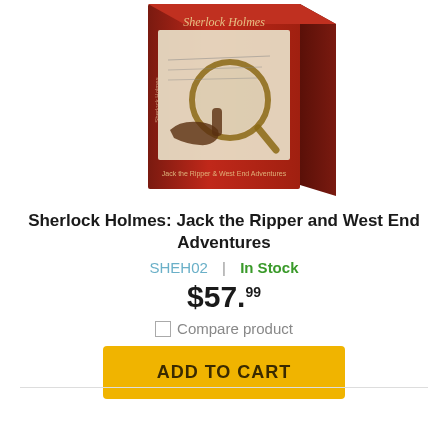[Figure (photo): Product box image of Sherlock Holmes: Jack the Ripper and West End Adventures board game, showing a red box with a magnifying glass, pipe, and handwritten letters design.]
Sherlock Holmes: Jack the Ripper and West End Adventures
SHEH02  |  In Stock
$57.99
Compare product
ADD TO CART